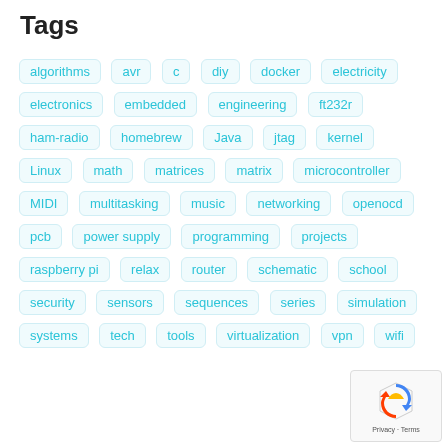Tags
algorithms
avr
c
diy
docker
electricity
electronics
embedded
engineering
ft232r
ham-radio
homebrew
Java
jtag
kernel
Linux
math
matrices
matrix
microcontroller
MIDI
multitasking
music
networking
openocd
pcb
power supply
programming
projects
raspberry pi
relax
router
schematic
school
security
sensors
sequences
series
simulation
systems
tech
tools
virtualization
vpn
wifi